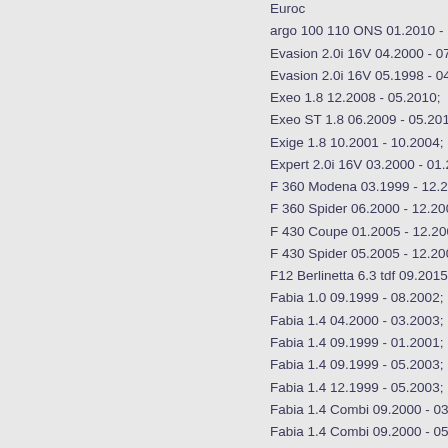EuroCargo 100 110 ONS 01.2010 - ;
Evasion 2.0i 16V 04.2000 - 07.2002;
Evasion 2.0i 16V 05.1998 - 04.2000;
Exeo 1.8 12.2008 - 05.2010;
Exeo ST 1.8 06.2009 - 05.2010;
Exige 1.8 10.2001 - 10.2004;
Expert 2.0i 16V 03.2000 - 01.2007;
F 360 Modena 03.1999 - 12.2004;
F 360 Spider 06.2000 - 12.2005;
F 430 Coupe 01.2005 - 12.2009;
F 430 Spider 05.2005 - 12.2009;
F12 Berlinetta 6.3 tdf 09.2015 - 08.2017;
Fabia 1.0 09.1999 - 08.2002;
Fabia 1.4 04.2000 - 03.2003;
Fabia 1.4 09.1999 - 01.2001;
Fabia 1.4 09.1999 - 05.2003;
Fabia 1.4 12.1999 - 05.2003;
Fabia 1.4 Combi 09.2000 - 03.2003;
Fabia 1.4 Combi 09.2000 - 05.2003;
Fabia 1.4 Combi 12.1999 - 01.2001;
Fabia 1.4 Combi 12.1999 - 05.2003;